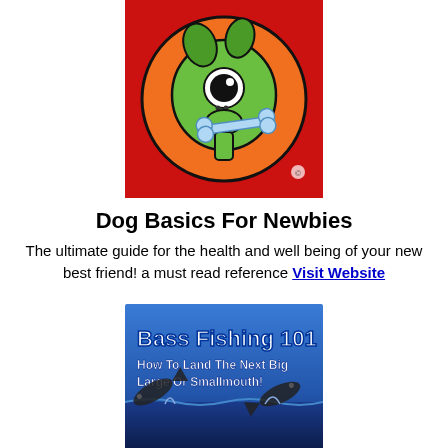[Figure (illustration): Cartoon illustration of a green dog holding a bone in its mouth, set against an orange circular background on a red square. The dog has a big black eye and green leaves on its head.]
Dog Basics For Newbies
The ultimate guide for the health and well being of your new best friend! a must read reference Visit Website
[Figure (illustration): Book cover for 'Bass Fishing 101 - How To Land The Next Big Large Or Smallmouth!' with blue background showing fish jumping out of water.]